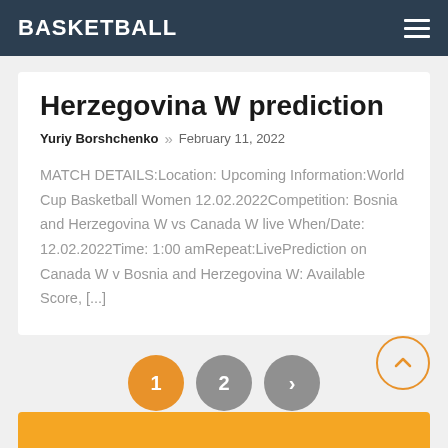BASKETBALL
Herzegovina W prediction
Yuriy Borshchenko » February 11, 2022
MATCH DETAILS:Location: Upcoming Information:World Cup Basketball Women 12.02.2022Competition: Bosnia and Herzegovina W vs Canada W live When/Date: 12.02.2022Time: 1:00 amRepeat:LivePrediction on Canada W v Bosnia and Herzegovina W: Available Score, [...]
1
2
›